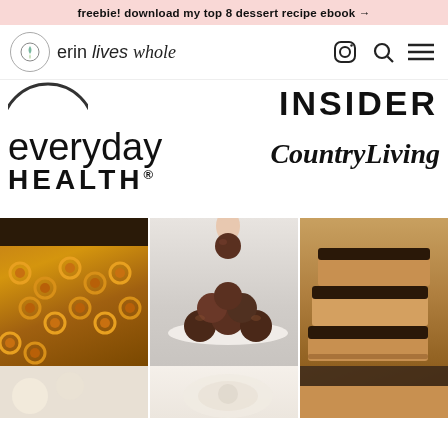freebie! download my top 8 dessert recipe ebook →
[Figure (logo): Erin Lives Whole website header with logo (circular icon with leaf/plant design), site name 'erin lives whole', and nav icons for Instagram, search, and menu]
[Figure (illustration): Press logos section showing partial circle logo on left, INSIDER in large bold uppercase text top right, everyday HEALTH in large text bottom left, CountryLiving in italic serif text bottom right]
[Figure (photo): Three food photos side by side: left shows cereal/cheerio bars with chocolate, middle shows chocolate energy balls on a plate with hand picking one up, right shows chocolate-topped caramel bars stacked]
[Figure (photo): Partial bottom row of food photos, left appears to be snack/dessert item, middle shows light-colored dessert from above, right shows warm-toned food item]